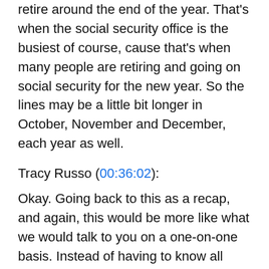retire around the end of the year. That's when the social security office is the busiest of course, cause that's when many people are retiring and going on social security for the new year. So the lines may be a little bit longer in October, November and December, each year as well.
Tracy Russo (00:36:02):
Okay. Going back to this as a recap, and again, this would be more like what we would talk to you on a one-on-one basis. Instead of having to know all these different scenarios, we would speak specifically to what impacts you and where you are in these columns. But again, if you're covered under large group insurance and your primary insurance is still working, you don't need to enroll in Medicare because your group coverage is primary. So you have full benefits even without Medicare, you'll have